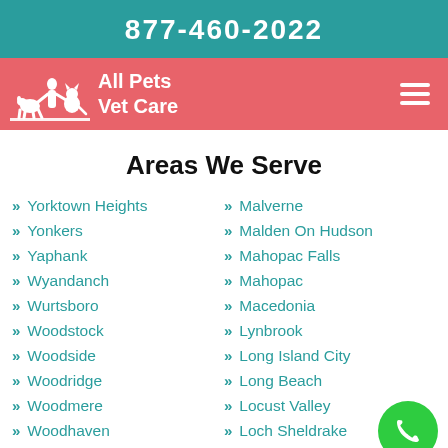877-460-2022
[Figure (logo): All Pets Vet Care logo with silhouette of pets and person, on salmon/coral background with hamburger menu icon]
Areas We Serve
Yorktown Heights
Yonkers
Yaphank
Wyandanch
Wurtsboro
Woodstock
Woodside
Woodridge
Woodmere
Woodhaven
Malverne
Malden On Hudson
Mahopac Falls
Mahopac
Macedonia
Lynbrook
Long Island City
Long Beach
Locust Valley
Loch Sheldrake